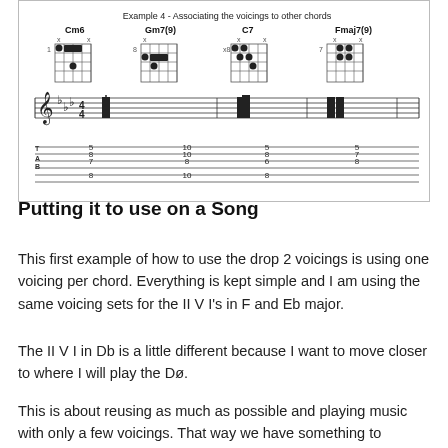[Figure (illustration): Guitar chord diagram and sheet music notation example labeled 'Example 4 - Associating the voicings to other chords' showing Cm6, Gm7(9), C7, and Fmaj7(9) chord diagrams with guitar tablature and standard notation below.]
Putting it to use on a Song
This first example of how to use the drop 2 voicings is using one voicing per chord. Everything is kept simple and I am using the same voicing sets for the II V I's in F and Eb major.
The II V I in Db is a little different because I want to move closer to where I will play the Dø.
This is about reusing as much as possible and playing music with only a few voicings. That way we have something to